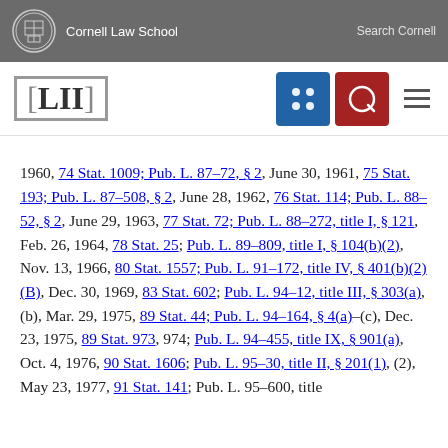Cornell Law School  Search Cornell
1960, 74 Stat. 1009; Pub. L. 87–72, §2, June 30, 1961, 75 Stat. 193; Pub. L. 87–508, §2, June 28, 1962, 76 Stat. 114; Pub. L. 88–52, §2, June 29, 1963, 77 Stat. 72; Pub. L. 88–272, title I, §121, Feb. 26, 1964, 78 Stat. 25; Pub. L. 89–809, title I, §104(b)(2), Nov. 13, 1966, 80 Stat. 1557; Pub. L. 91–172, title IV, §401(b)(2)(B), Dec. 30, 1969, 83 Stat. 602; Pub. L. 94–12, title III, §303(a), (b), Mar. 29, 1975, 89 Stat. 44; Pub. L. 94–164, §4(a)–(c), Dec. 23, 1975, 89 Stat. 973, 974; Pub. L. 94–455, title IX, §901(a), Oct. 4, 1976, 90 Stat. 1606; Pub. L. 95–30, title II, §201(1), (2), May 23, 1977, 91 Stat. 141; Pub. L. 95–600, title